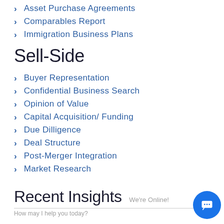Asset Purchase Agreements
Comparables Report
Immigration Business Plans
Sell-Side
Buyer Representation
Confidential Business Search
Opinion of Value
Capital Acquisition/ Funding
Due Dilligence
Deal Structure
Post-Merger Integration
Market Research
Recent Insights